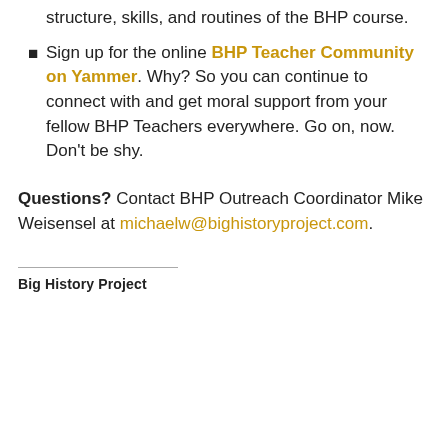structure, skills, and routines of the BHP course.
Sign up for the online BHP Teacher Community on Yammer. Why? So you can continue to connect with and get moral support from your fellow BHP Teachers everywhere. Go on, now. Don't be shy.
Questions? Contact BHP Outreach Coordinator Mike Weisensel at michaelw@bighistoryproject.com.
Big History Project